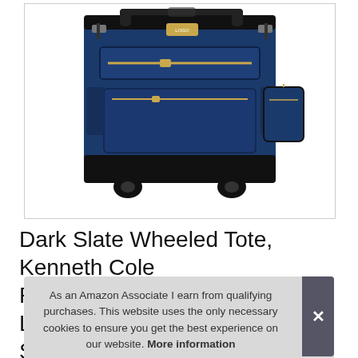[Figure (photo): A navy blue wheeled rolling tote bag with black leather trim, gold zippers, and a small matching luggage tag. The bag has two wheels at the bottom and a small front pocket. The bag appears to be a Kenneth Cole Reaction product.]
Dark Slate Wheeled Tote, Kenneth Cole Re La Si
As an Amazon Associate I earn from qualifying purchases. This website uses the only necessary cookies to ensure you get the best experience on our website. More information